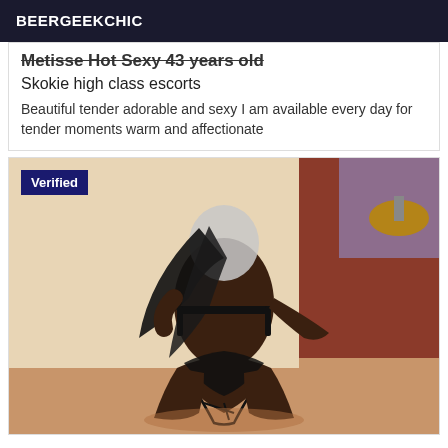BEERGEEKCHIC
Metisse Hot Sexy 43 years old
Skokie high class escorts
Beautiful tender adorable and sexy I am available every day for tender moments warm and affectionate
[Figure (photo): Photo of a woman in black lingerie, back facing camera, with blurred face, kneeling on floor. A 'Verified' badge overlays the top-left corner.]